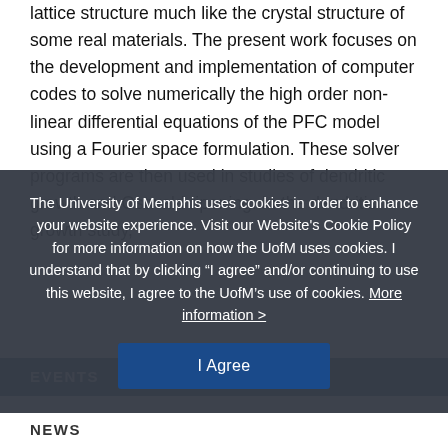lattice structure much like the crystal structure of some real materials. The present work focuses on the development and implementation of computer codes to solve numerically the high order non-linear differential equations of the PFC model using a Fourier space formulation. These solver programs are then used in studies of dendritic growth and Ostwald ripening. In the dendritic growth study,
The University of Memphis uses cookies in order to enhance your website experience. Visit our Website's Cookie Policy for more information on how the UofM uses cookies. I understand that by clicking “I agree” and/or continuing to use this website, I agree to the UofM’s use of cookies. More information >
I Agree
EVENTS
NEWS